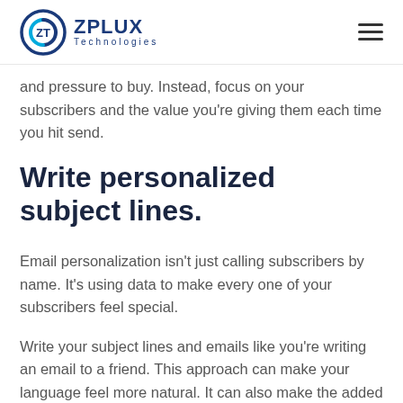ZPLUX Technologies
and pressure to buy. Instead, focus on your subscribers and the value you're giving them each time you hit send.
Write personalized subject lines.
Email personalization isn't just calling subscribers by name. It's using data to make every one of your subscribers feel special.
Write your subject lines and emails like you're writing an email to a friend. This approach can make your language feel more natural. It can also make the added